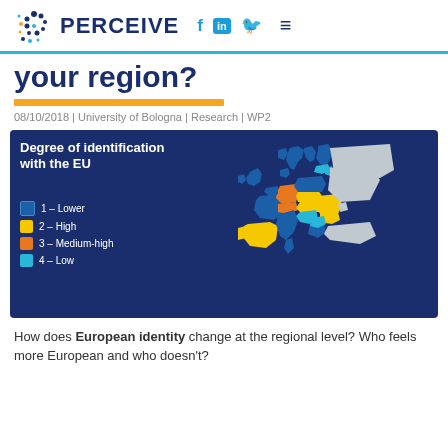PERCEIVE
your region?
08/10/2018 | University of Bologna | Research | WP2
[Figure (map): Map of Europe showing degree of identification with the EU by region. Legend: 1-Lower (dark blue), 2-High (yellow/gold), 3-Medium-high (orange), 4-Low (light blue). Regions vary in color across European countries.]
How does European identity change at the regional level? Who feels more European and who doesn't?